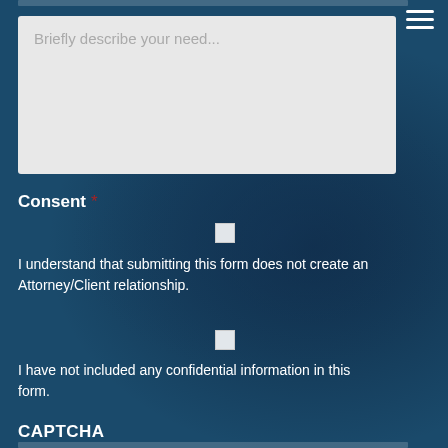[Figure (screenshot): Text area input field with placeholder text 'Briefly describe your need...' on a dark blue background with watermark eye graphic]
Consent *
I understand that submitting this form does not create an Attorney/Client relationship.
I have not included any confidential information in this form.
CAPTCHA